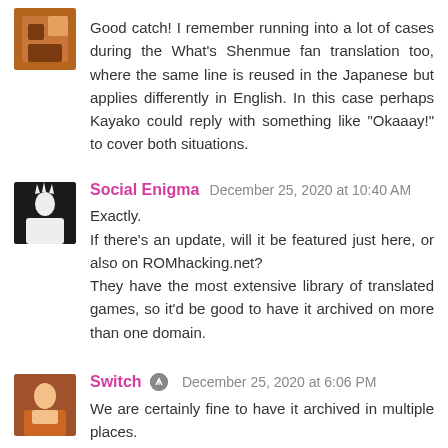Good catch! I remember running into a lot of cases during the What's Shenmue fan translation too, where the same line is reused in the Japanese but applies differently in English. In this case perhaps Kayako could reply with something like "Okaaay!" to cover both situations.
Social Enigma December 25, 2020 at 10:40 AM
Exactly.
If there's an update, will it be featured just here, or also on ROMhacking.net?
They have the most extensive library of translated games, so it'd be good to have it archived on more than one domain.
Switch December 25, 2020 at 6:06 PM
We are certainly fine to have it archived in multiple places.